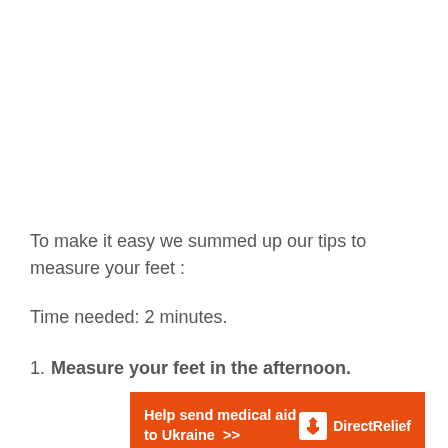To make it easy we summed up our tips to measure your feet :
Time needed: 2 minutes.
Measure your feet in the afternoon.
[Figure (other): Orange advertisement banner for Direct Relief: 'Help send medical aid to Ukraine >>' with Direct Relief logo on the right.]